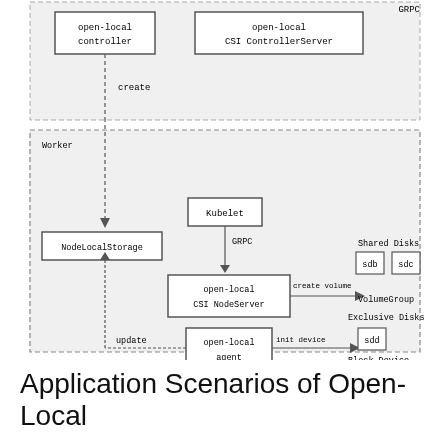[Figure (engineering-diagram): Architecture diagram showing open-local system components. Top section (partially visible): open-local controller, open-local CSI ControllerServer, GRPC label. Middle/bottom section labeled 'Worker' (dashed border): NodeLocalStorage, Kubelet (with GRPC label), open-local CSI NodeServer (connected via arrow to VolumeGroup with sdb/sdc Shared Disks), open-local agent (connected via arrow to Block Device sdd, Exclusive Disks). Arrows show: create (down to Worker), update (from agent to NodeLocalStorage), init device (agent to sdd/Block Device), create volume (CSI NodeServer to VolumeGroup).]
Application Scenarios of Open-Local